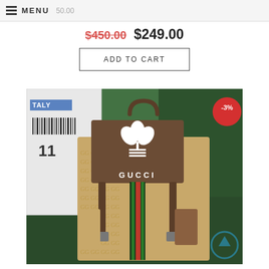MENU   50.00
$450.00  $249.00
ADD TO CART
[Figure (photo): A Gucci x Adidas collaboration backpack in GG canvas with brown leather front flap bearing the Adidas trefoil logo and GUCCI text, shown with original Italy packaging and green Gucci boxes. A -3% discount badge appears in the top right corner.]